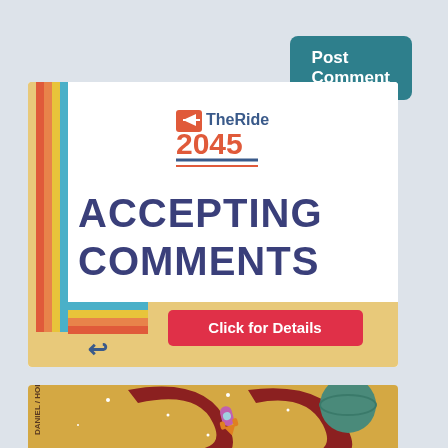[Figure (screenshot): Post Comment button, teal/dark cyan background with white bold text]
[Figure (illustration): TheRide 2045 transit plan advertisement. Logo with TheRide 2045 text, large bold text 'ACCEPTING COMMENTS', red button 'Click for Details', decorative rainbow stripes on the left and bottom corners.]
[Figure (illustration): Partial view of a book cover with a golden/tan background, a large red curved arrow shape, a rocket, a planet, and text partially visible reading 'DANIEL / HODAY' on the left spine.]